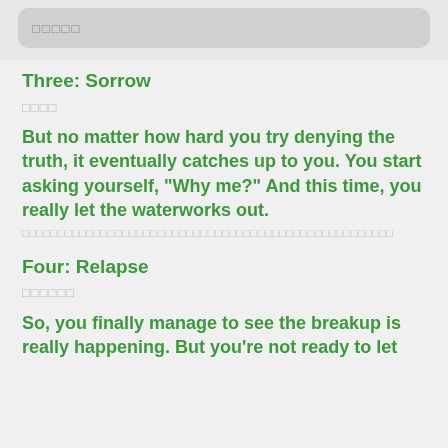□□□□□
Three: Sorrow
□□□□
But no matter how hard you try denying the truth, it eventually catches up to you. You start asking yourself, "Why me?" And this time, you really let the waterworks out.
□□□□□□□□□□□□□□□□□□□□□□□□□□□□□□□□□□□□□□□□□□□□□□□□□□□□
Four: Relapse
□□□□□□
So, you finally manage to see the breakup is really happening. But you're not ready to let